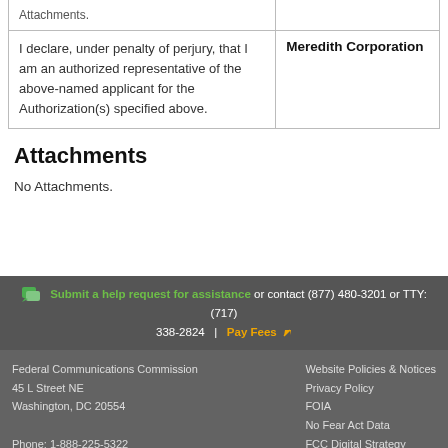| Attachments. |  |
| I declare, under penalty of perjury, that I am an authorized representative of the above-named applicant for the Authorization(s) specified above. | Meredith Corporation |
Attachments
No Attachments.
Submit a help request for assistance or contact (877) 480-3201 or TTY: (717) 338-2824  |  Pay Fees
Federal Communications Commission
45 L Street NE
Washington, DC 20554
Phone: 1-888-225-5322

Website Policies & Notices
Privacy Policy
FOIA
No Fear Act Data
FCC Digital Strategy